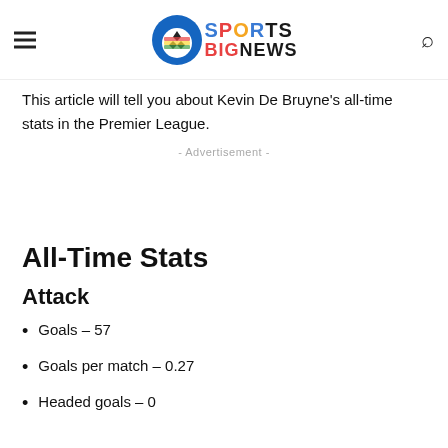Sports BigNews
This article will tell you about Kevin De Bruyne's all-time stats in the Premier League.
- Advertisement -
All-Time Stats
Attack
Goals – 57
Goals per match – 0.27
Headed goals – 0